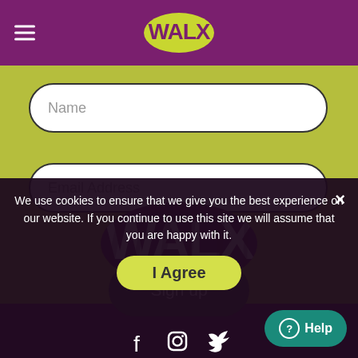WALX
Name
Email Address
Sign up
[Figure (logo): WALX large logo in white with tiger stripe pattern on purple background]
© Walx 2017
We use cookies to ensure that we give you the best experience on our website. If you continue to use this site we will assume that you are happy with it.
I Agree
Help